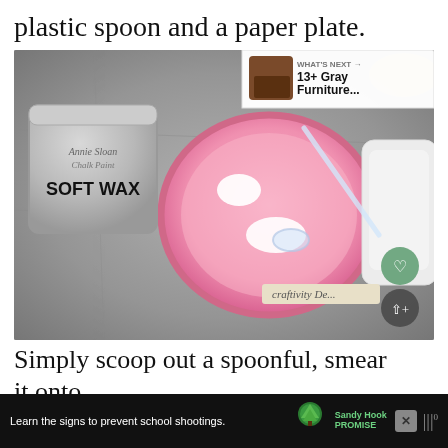plastic spoon and a paper plate.
[Figure (photo): Photo of an Annie Sloan Soft Wax can next to a pink paper plate with white wax on it, and a clear plastic spoon and white cloth/rag, on a gray stone surface. Heart and share buttons visible. Craftivity Den watermark. 'WHAT'S NEXT' panel showing '13+ Gray Furniture...']
Simply scoop out a spoonful, smear it onto the plate and dip your brush or rag to spread
Learn the signs to prevent school shootings. [Sandy Hook Promise logo] [mute icon]